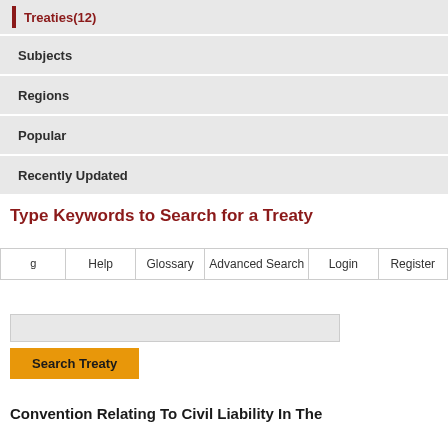Treaties(12)
Subjects
Regions
Popular
Recently Updated
Help | Glossary | Advanced Search | Login | Register
Type Keywords to Search for a Treaty
Search Treaty
Convention Relating To Civil Liability In The